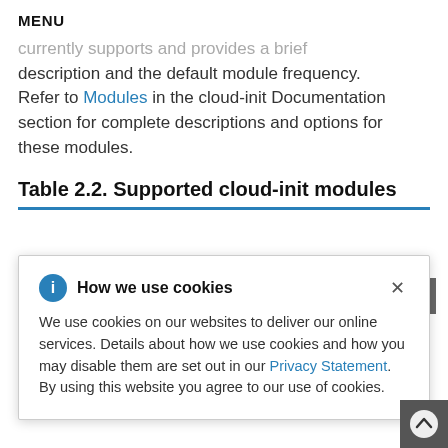MENU
currently supports and provides a brief description and the default module frequency. Refer to Modules in the cloud-init Documentation section for complete descriptions and options for these modules.
Table 2.2. Supported cloud-init modules
[Figure (other): Cookie consent dialog popup with title 'How we use cookies', info icon, close X button, body text about cookies and Privacy Statement link, and expand icon]
ds early in the boot process